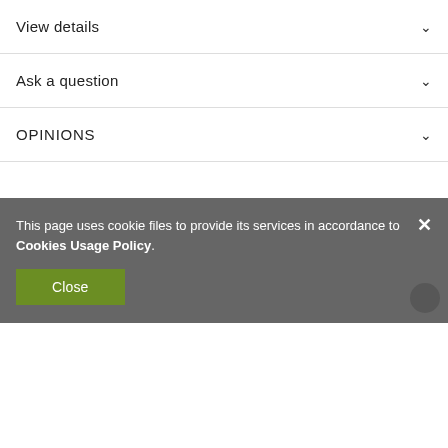View details
Ask a question
OPINIONS
[Figure (other): Loading indicator: a small green/olive horizontal bar in the center of a blank content area]
This page uses cookie files to provide its services in accordance to Cookies Usage Policy.
Close